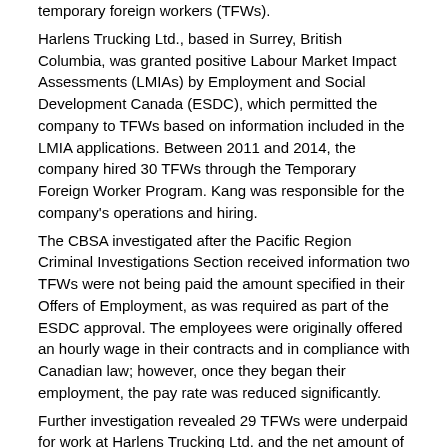temporary foreign workers (TFWs). Harlens Trucking Ltd., based in Surrey, British Columbia, was granted positive Labour Market Impact Assessments (LMIAs) by Employment and Social Development Canada (ESDC), which permitted the company to TFWs based on information included in the LMIA applications. Between 2011 and 2014, the company hired 30 TFWs through the Temporary Foreign Worker Program. Kang was responsible for the company's operations and hiring.
The CBSA investigated after the Pacific Region Criminal Investigations Section received information two TFWs were not being paid the amount specified in their Offers of Employment, as was required as part of the ESDC approval. The employees were originally offered an hourly wage in their contracts and in compliance with Canadian law; however, once they began their employment, the pay rate was reduced significantly.
Further investigation revealed 29 TFWs were underpaid for work at Harlens Trucking Ltd. and the net amount of underpayment was calculated at $352,001.83.
On June 26, Kang and Harlens Trucking Ltd. pleaded guilty to two counts under the Immigration and Refugee Protection Act (IRPA), misrepresentation, and failing to comply with a condition or obligation of